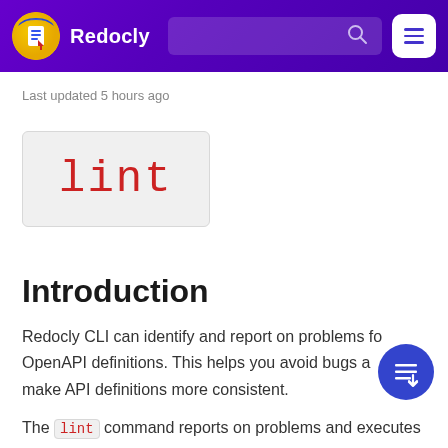Redocly
Last updated 5 hours ago
[Figure (other): Code/command display box showing the word 'lint' in red monospace font on a light gray background]
Introduction
Redocly CLI can identify and report on problems found in OpenAPI definitions. This helps you avoid bugs and make API definitions more consistent.
The lint command reports on problems and executes